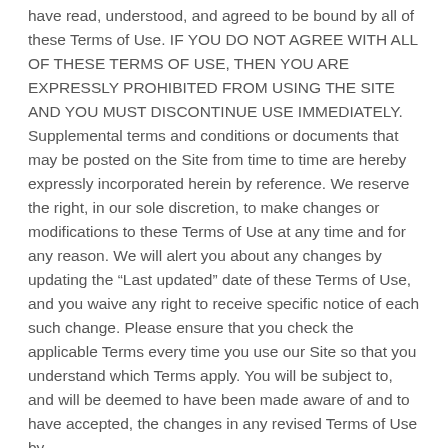have read, understood, and agreed to be bound by all of these Terms of Use. IF YOU DO NOT AGREE WITH ALL OF THESE TERMS OF USE, THEN YOU ARE EXPRESSLY PROHIBITED FROM USING THE SITE AND YOU MUST DISCONTINUE USE IMMEDIATELY. Supplemental terms and conditions or documents that may be posted on the Site from time to time are hereby expressly incorporated herein by reference. We reserve the right, in our sole discretion, to make changes or modifications to these Terms of Use at any time and for any reason. We will alert you about any changes by updating the “Last updated” date of these Terms of Use, and you waive any right to receive specific notice of each such change. Please ensure that you check the applicable Terms every time you use our Site so that you understand which Terms apply. You will be subject to, and will be deemed to have been made aware of and to have accepted, the changes in any revised Terms of Use by